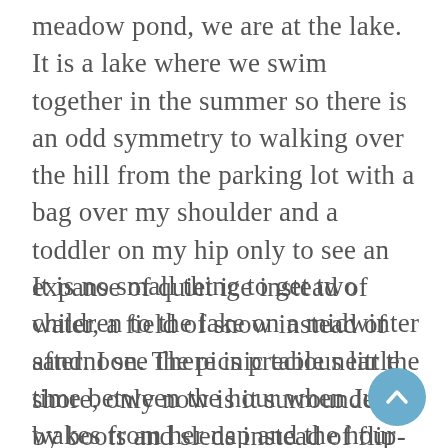meadow pond, we are at the lake. It is a lake where we swim together in the summer so there is an odd symmetry to walking over the hill from the parking lot with a bag over my shoulder and a toddler on my hip only to see an expanse of quiet ice instead of water, a field of snow instead of sand. I see the picnic table near the shore, only now is it surrounded by boots and sleds instead of flip-flops and water wings.
It is no small thing to get two children to the lake on a midwinter afternoon. There is precious little time between the hour when June wakes from her nap and the hour the sun sets. And there are so many things to pack. Skates, extra socks, helmets, mittens, snow